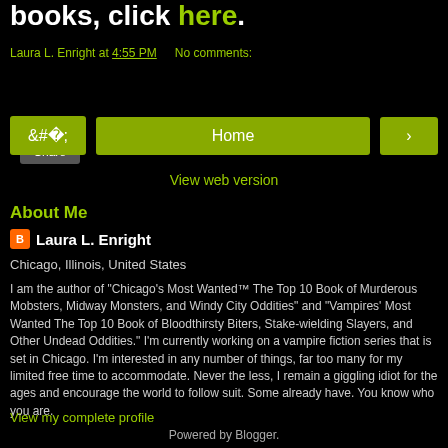books, click here.
Laura L. Enright at 4:55 PM   No comments:
Share
< Home >
View web version
About Me
Laura L. Enright
Chicago, Illinois, United States
I am the author of "Chicago's Most Wanted™ The Top 10 Book of Murderous Mobsters, Midway Monsters, and Windy City Oddities" and "Vampires' Most Wanted The Top 10 Book of Bloodthirsty Biters, Stake-wielding Slayers, and Other Undead Oddities." I'm currently working on a vampire fiction series that is set in Chicago. I'm interested in any number of things, far too many for my limited free time to accommodate. Never the less, I remain a giggling idiot for the ages and encourage the world to follow suit. Some already have. You know who you are.
View my complete profile
Powered by Blogger.